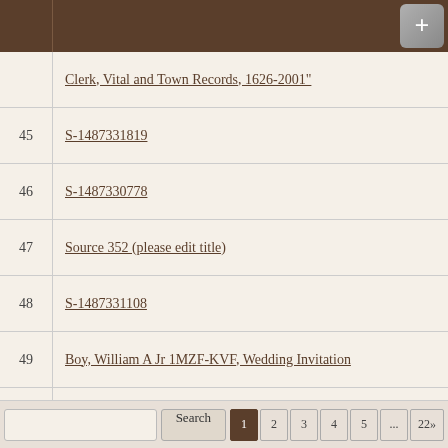| # | Source |
| --- | --- |
|  | Clerk, Vital and Town Records, 1626-2001" |
| 45 | S-1487331819 |
| 46 | S-1487330778 |
| 47 | Source 352 (please edit title) |
| 48 | S-1487331108 |
| 49 | Boy, William A Jr 1MZF-KVF, Wedding Invitation |
| 50 | Lincolnshire Baptisms |
Search  1  2  3  4  5  ...  22»